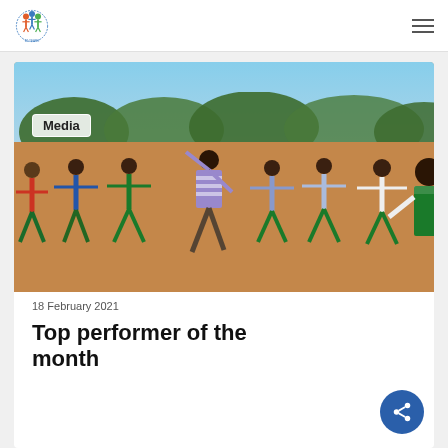Navigation bar with logo and hamburger menu
[Figure (photo): Children playing outdoors on a dirt ground with trees in background, arms spread wide in an exercise or game. A 'Media' badge is overlaid on the upper-left of the image.]
18 February 2021
Top performer of the month